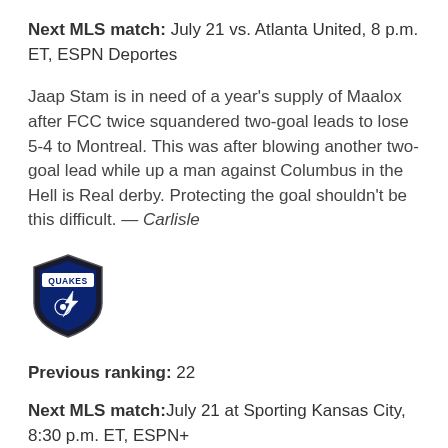Next MLS match: July 21 vs. Atlanta United, 8 p.m. ET, ESPN Deportes
Jaap Stam is in need of a year's supply of Maalox after FCC twice squandered two-goal leads to lose 5-4 to Montreal. This was after blowing another two-goal lead while up a man against Columbus in the Hell is Real derby. Protecting the goal shouldn't be this difficult. — Carlisle
[Figure (logo): San Jose Earthquakes (Quakes) shield logo in navy blue and black with lightning bolt and soccer ball]
Previous ranking: 22
Next MLS match: July 21 at Sporting Kansas City, 8:30 p.m. ET, ESPN+